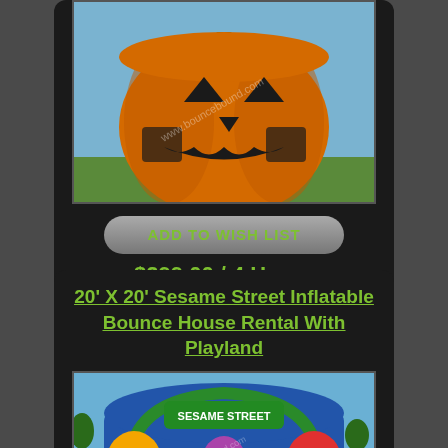[Figure (photo): Orange pumpkin-shaped inflatable bounce house with jack-o-lantern face, black accents, outdoors on grass]
ADD TO WISH LIST
$299.00 / 4 Hours
20' X 20' Sesame Street Inflatable Bounce House Rental With Playland
[Figure (photo): Sesame Street themed inflatable bounce house playland with colorful characters, outdoors on grass]